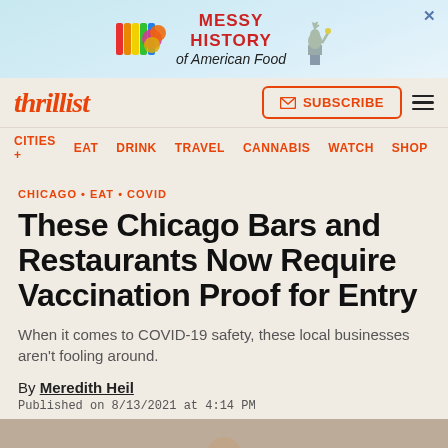[Figure (other): Advertisement banner: Messy History of American Food with logo and Statue of Liberty image]
thrillist | SUBSCRIBE | navigation menu
CITIES + EAT DRINK TRAVEL CANNABIS WATCH SHOP
CHICAGO • EAT • COVID
These Chicago Bars and Restaurants Now Require Vaccination Proof for Entry
When it comes to COVID-19 safety, these local businesses aren't fooling around.
By Meredith Heil
Published on 8/13/2021 at 4:14 PM
[Figure (photo): Partial photo of a person at the bottom of the page]